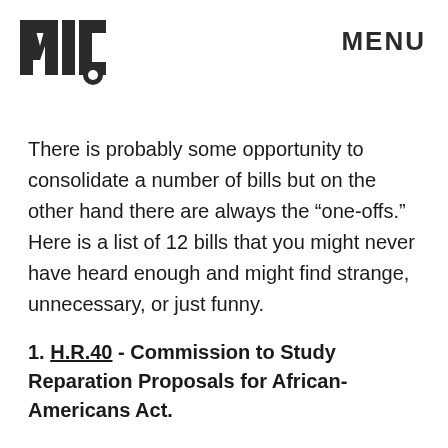[Figure (logo): MIC logo — bold block letters M, I, C in dark gray/black]
MENU
There is probably some opportunity to consolidate a number of bills but on the other hand there are always the “one-offs.” Here is a list of 12 bills that you might never have heard enough and might find strange, unnecessary, or just funny.
1. H.R.40 - Commission to Study Reparation Proposals for African-Americans Act.